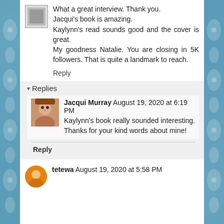What a great interview. Thank you.
Jacqui's book is amazing.
Kaylynn's read sounds good and the cover is great.
My goodness Natalie. You are closing in 5K followers. That is quite a landmark to reach.
Reply
▾ Replies
Jacqui Murray August 19, 2020 at 6:19 PM
Kaylynn's book really sounded interesting. Thanks for your kind words about mine!
Reply
tetewa August 19, 2020 at 5:58 PM